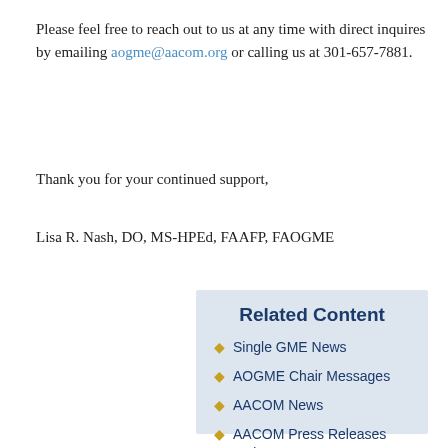Please feel free to reach out to us at any time with direct inquires by emailing aogme@aacom.org or calling us at 301-657-7881.
Thank you for your continued support,
Lisa R. Nash, DO, MS-HPEd, FAAFP, FAOGME
Related Content
Single GME News
AOGME Chair Messages
AACOM News
AACOM Press Releases and Statements